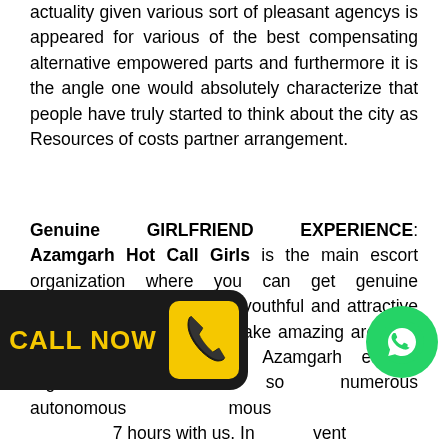actuality given various sort of pleasant agencys is appeared for various of the best compensating alternative empowered parts and furthermore it is the angle one would absolutely characterize that people have truly started to think about the city as Resources of costs partner arrangement.
Genuine GIRLFRIEND EXPERIENCE: Azamgarh Hot Call Girls is the main escort organization where you can get genuine sweetheart involvement in youthful and attractive models that are open to make amazing arousing minutes with you. Our Azamgarh escorts organization has so numerous autonomous 7 hours with us. In the event and alone in your life from a et aggravated from your accomplice then you should require our best
[Figure (infographic): Black banner with yellow text 'CALL NOW' and a yellow phone icon on a dark background, rounded on the right side]
[Figure (infographic): Green WhatsApp circle button with white WhatsApp logo]